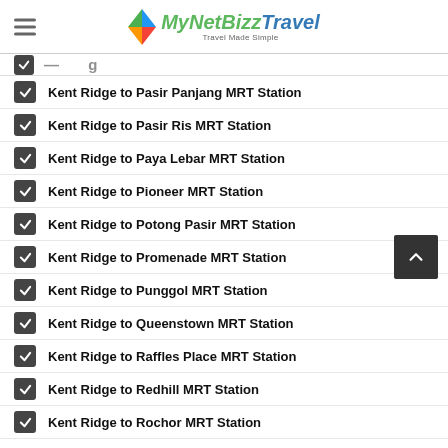MyNetBizz Travel – Travel Made Simple
Kent Ridge to Pasir Panjang MRT Station
Kent Ridge to Pasir Ris MRT Station
Kent Ridge to Paya Lebar MRT Station
Kent Ridge to Pioneer MRT Station
Kent Ridge to Potong Pasir MRT Station
Kent Ridge to Promenade MRT Station
Kent Ridge to Punggol MRT Station
Kent Ridge to Queenstown MRT Station
Kent Ridge to Raffles Place MRT Station
Kent Ridge to Redhill MRT Station
Kent Ridge to Rochor MRT Station